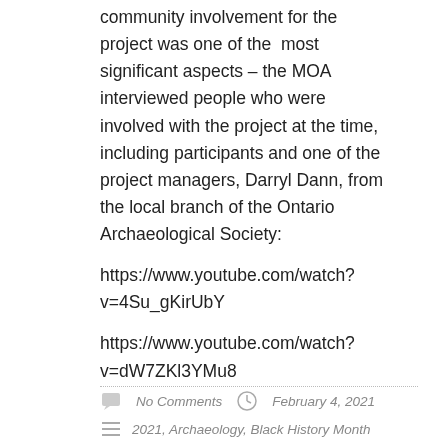community involvement for the project was one of the most significant aspects – the MOA interviewed people who were involved with the project at the time, including participants and one of the project managers, Darryl Dann, from the local branch of the Ontario Archaeological Society:
https://www.youtube.com/watch?v=4Su_gKirUbY
https://www.youtube.com/watch?v=dW7ZKl3YMu8
No Comments   February 4, 2021   2021, Archaeology, Black History Month